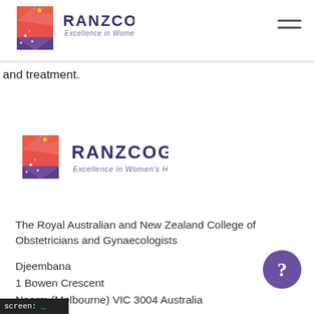[Figure (logo): RANZCOG logo with shield icon and text 'RANZCOG Excellence in Women's Health' in header]
and treatment.
[Figure (logo): RANZCOG logo with shield icon and text 'RANZCOG Excellence in Women's Health' in body]
The Royal Australian and New Zealand College of Obstetricians and Gynaecologists
Djeembana
1 Bowen Crescent
Naarm (Melbourne) VIC 3004 Australia
screen: _